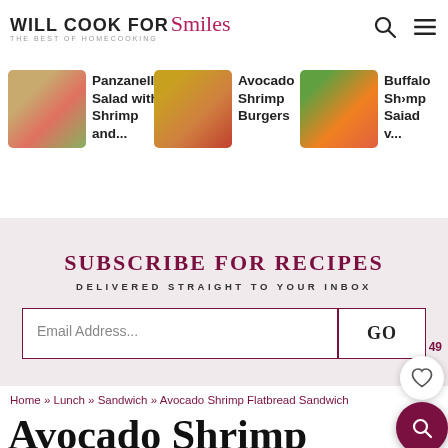WILL COOK FOR Smiles — THE BEST OF HOMECOOKING
[Figure (photo): Thumbnail of Panzanella Salad with Shrimp]
Panzanella Salad with Shrimp and...
[Figure (photo): Thumbnail of Avocado Shrimp Burgers]
Avocado Shrimp Burgers
[Figure (photo): Thumbnail of Buffalo Shrimp Salad]
Buffalo Shrimp Salad w...
SUBSCRIBE FOR RECIPES
DELIVERED STRAIGHT TO YOUR INBOX
Email Address... GO
49
Home » Lunch » Sandwich » Avocado Shrimp Flatbread Sandwich
Avocado Shrimp Flatbread